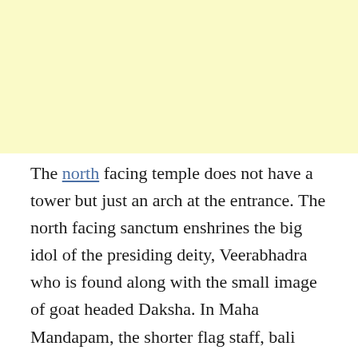[Figure (other): Light yellow rectangular image placeholder occupying the top portion of the page]
The north facing temple does not have a tower but just an arch at the entrance. The north facing sanctum enshrines the big idol of the presiding deity, Veerabhadra who is found along with the small image of goat headed Daksha. In Maha Mandapam, the shorter flag staff, bali peetha and Nandi are found facing towards the sanctum. Small shrines of Bala